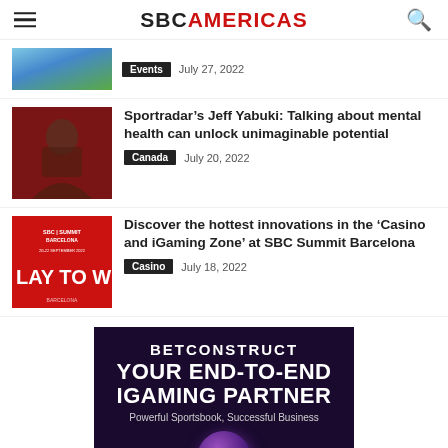SBCAMERICAS
[Figure (photo): Partial thumbnail of an outdoor/landscape image cropped at top]
Events   July 27, 2022
[Figure (photo): Photo of a man holding a microphone, dark red background, Sportradar event]
Sportradar’s Jeff Yabuki: Talking about mental health can unlock unimaginable potential
Canada   July 20, 2022
[Figure (photo): Red promotional image for SBC Summit Barcelona 20-22 September 2022 with text LAY TO W]
Discover the hottest innovations in the ‘Casino and iGaming Zone’ at SBC Summit Barcelona
Casino   July 18, 2022
[Figure (illustration): BetConstruct advertisement: YOUR END-TO-END IGAMING PARTNER. Powerful Sportsbook, Successful Business. Dark purple/black background with a ball.]